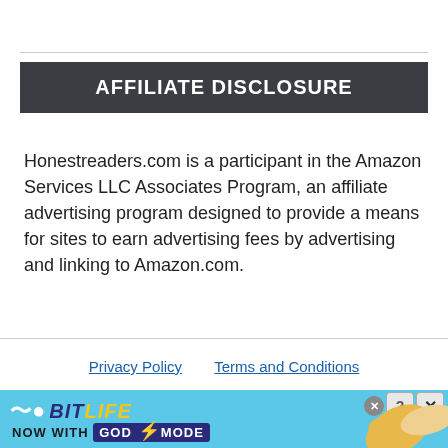AFFILIATE DISCLOSURE
Honestreaders.com is a participant in the Amazon Services LLC Associates Program, an affiliate advertising program designed to provide a means for sites to earn advertising fees by advertising and linking to Amazon.com.
Privacy Policy   Terms and Conditions
[Figure (screenshot): BitLife advertisement banner: light blue background with BitLife logo, 'NOW WITH GOD MODE' text, thumbs-up illustration, and close/help buttons in top right corner.]